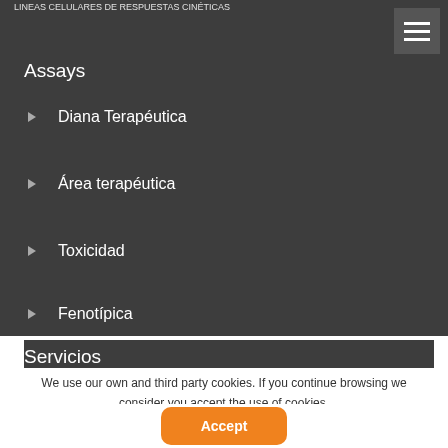LINEAS CELULARES DE RESPUESTAS CINÉTICAS
Assays
Diana Terapéutica
Área terapéutica
Toxicidad
Fenotípica
Servicios
We use our own and third party cookies. If you continue browsing we consider you accept the use of cookies.